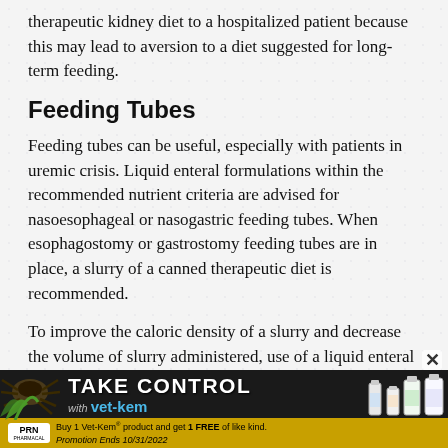therapeutic kidney diet to a hospitalized patient because this may lead to aversion to a diet suggested for long-term feeding.
Feeding Tubes
Feeding tubes can be useful, especially with patients in uremic crisis. Liquid enteral formulations within the recommended nutrient criteria are advised for nasoesophageal or nasogastric feeding tubes. When esophagostomy or gastrostomy feeding tubes are in place, a slurry of a canned therapeutic diet is recommended.
To improve the caloric density of a slurry and decrease the volume of slurry administered, use of a liquid enteral diet rather than water is recommended.
[Figure (infographic): Advertisement banner for Vet-Kem products. Dark background with tick image on left. Text reads 'TAKE CONTROL with vet-kem'. Bottom gold bar with PRN Pharmacal logo and text: Buy 1 Vet-Kem® product and get 1 FREE of like kind. Promotion Ends 10/31/2022. Product bottles shown on right.]